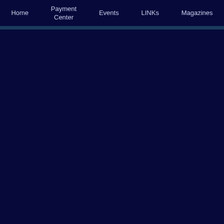Home | Payment Center | Events | LINKs | Magazines